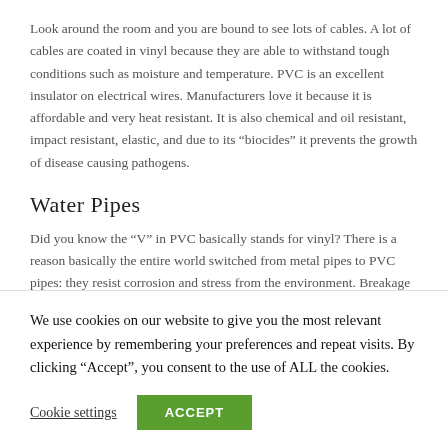Look around the room and you are bound to see lots of cables. A lot of cables are coated in vinyl because they are able to withstand tough conditions such as moisture and temperature. PVC is an excellent insulator on electrical wires. Manufacturers love it because it is affordable and very heat resistant. It is also chemical and oil resistant, impact resistant, elastic, and due to its “biocides” it prevents the growth of disease causing pathogens.
Water Pipes
Did you know the “V” in PVC basically stands for vinyl? There is a reason basically the entire world switched from metal pipes to PVC pipes: they resist corrosion and stress from the environment. Breakage is also
We use cookies on our website to give you the most relevant experience by remembering your preferences and repeat visits. By clicking “Accept”, you consent to the use of ALL the cookies.
Cookie settings
ACCEPT